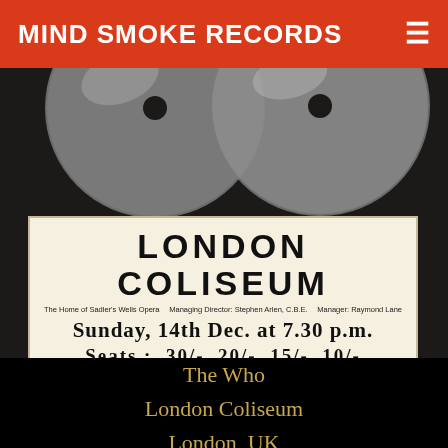MIND SMOKE RECORDS
[Figure (photo): A vintage concert poster for London Coliseum placed over a dark background with what appears to be vinyl records or metallic objects at the top. The poster reads: LONDON COLISEUM, The Home of Sadler's Wells Opera, Managing Director: Stephen Arlen, C.B.E., Manager: Raymond Lane, Sunday, 14th Dec. at 7.30 p.m., Seats: 30/- 20/- 15/- 10/-, Bookable in advance from Box Office, London Coliseum, St. Martin's Lane, London, W.C.2. Tel. 836 3161]
The Who
London Coliseum
London, UK